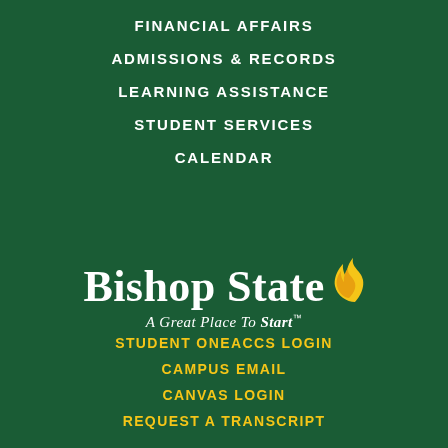FINANCIAL AFFAIRS
ADMISSIONS & RECORDS
LEARNING ASSISTANCE
STUDENT SERVICES
CALENDAR
[Figure (logo): Bishop State Community College logo with flame icon and tagline 'A Great Place To Start']
STUDENT ONEACCS LOGIN
CAMPUS EMAIL
CANVAS LOGIN
REQUEST A TRANSCRIPT